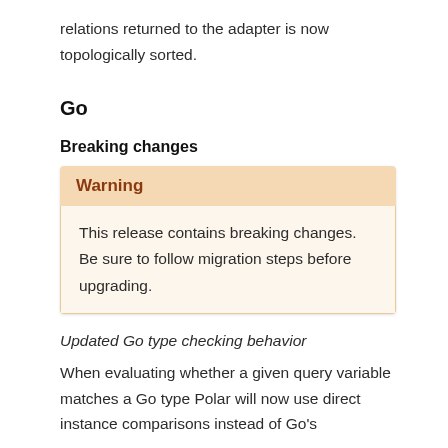relations returned to the adapter is now topologically sorted.
Go
Breaking changes
Warning
This release contains breaking changes. Be sure to follow migration steps before upgrading.
Updated Go type checking behavior
When evaluating whether a given query variable matches a Go type Polar will now use direct instance comparisons instead of Go's